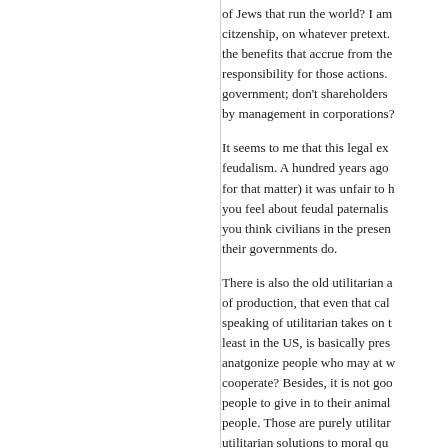of Jews that run the world? I am... citzenship, on whatever pretext. the benefits that accrue from the responsibility for those actions. government; don't shareholders by management in corporations?
It seems to me that this legal ex... feudalism. A hundred years ago for that matter) it was unfair to h you feel about feudal paternalis... you think civilians in the presen... their governments do.
There is also the old utilitarian a... of production, that even that cal... speaking of utilitarian takes on t... least in the US, is basically pres... anatgonize people who may at w cooperate? Besides, it is not goo people to give in to their animal people. Those are purely utilitar... utilitarian solutions to moral qu... completely in this case. I still b...